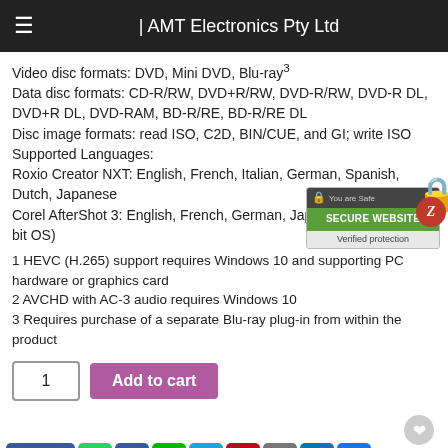| AMT Electronics Pty Ltd
Video disc formats: DVD, Mini DVD, Blu-ray3
Data disc formats: CD-R/RW, DVD+R/RW, DVD-R/RW, DVD-R DL, DVD+R DL, DVD-RAM, BD-R/RE, BD-R/RE DL
Disc image formats: read ISO, C2D, BIN/CUE, and GI; write ISO
Supported Languages:
Roxio Creator NXT: English, French, Italian, German, Spanish, Dutch, Japanese
Corel AfterShot 3: English, French, German, Japanese (requires 64-bit OS)
1 HEVC (H.265) support requires Windows 10 and supporting PC hardware or graphics card
2 AVCHD with AC-3 audio requires Windows 10
3 Requires purchase of a separate Blu-ray plug-in from within the product
[Figure (other): Secure website badge overlay with lock icon: 'You are Safe', 'SECURE WEBSITE', 'Verified protection']
[Figure (other): Add to cart section with quantity input showing '1' and purple 'Add to cart' button]
[Figure (other): Social share bar with Like, WhatsApp, Facebook, LINE, Twitter, Pinterest, Email, LinkedIn, and plus buttons]